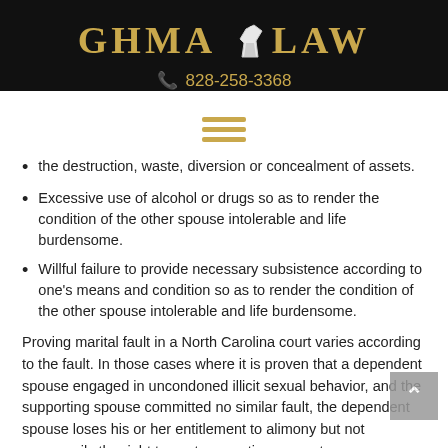[Figure (logo): GHMA LAW logo with gold text and white chess knight icon on black background, with phone number 828-258-3368 in gold]
the destruction, waste, diversion or concealment of assets.
Excessive use of alcohol or drugs so as to render the condition of the other spouse intolerable and life burdensome.
Willful failure to provide necessary subsistence according to one's means and condition so as to render the condition of the other spouse intolerable and life burdensome.
Proving marital fault in a North Carolina court varies according to the fault. In those cases where it is proven that a dependent spouse engaged in uncondoned illicit sexual behavior, and the supporting spouse committed no similar fault, the dependent spouse loses his or her entitlement to alimony but not necessarily the right to post-separation support.